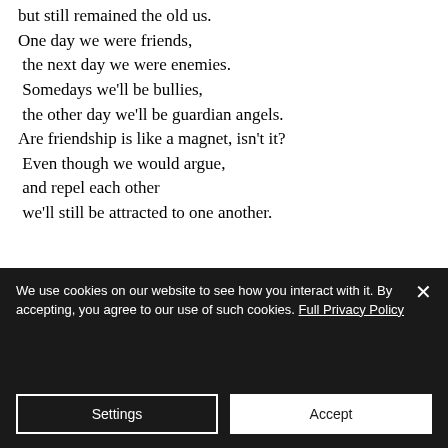but still remained the old us.
One day we were friends,
 the next day we were enemies.
 Somedays we'll be bullies,
 the other day we'll be guardian angels.
Are friendship is like a magnet, isn't it?
 Even though we would argue,
 and repel each other
 we'll still be attracted to one another.
We use cookies on our website to see how you interact with it. By accepting, you agree to our use of such cookies. Full Privacy Policy
Settings
Accept